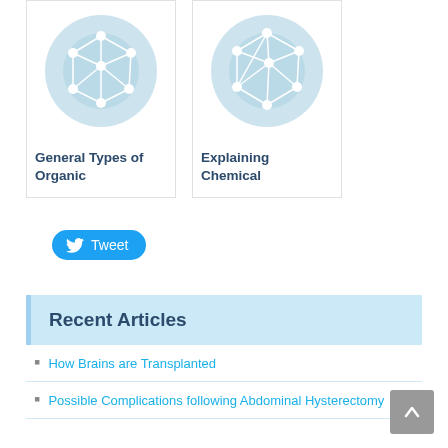[Figure (illustration): Card with blue circle network graph icon for General Types of Organic]
[Figure (illustration): Card with blue circle network graph icon for Explaining Chemical]
General Types of Organic
Explaining Chemical
[Figure (other): Tweet button with Twitter bird icon]
Recent Articles
How Brains are Transplanted
Possible Complications following Abdominal Hysterectomy